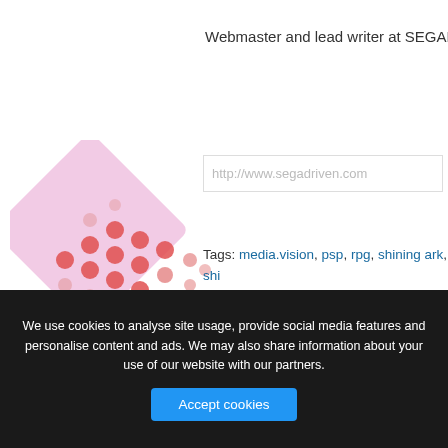[Figure (illustration): Decorative pink/red dotted diamond pattern avatar placeholder image]
Webmaster and lead writer at SEGADriven
http://www.segadriven.com
Tags: media.vision, psp, rpg, shining ark, shi... video spotlight, wild arms
Posted in Video Spotlight | Comments Off
SEGADriven is proud affiliates with the following websites:
SEGADriven and its original content are copyrighted to their respe... SEGA-related materials do...
- Dreamcast Live
- Emerald Coast
- MegaDrive.me
- Project Phoenix Productions
We use cookies to analyse site usage, provide social media features and personalise content and ads. We may also share information about your use of our website with our partners.
Accept cookies